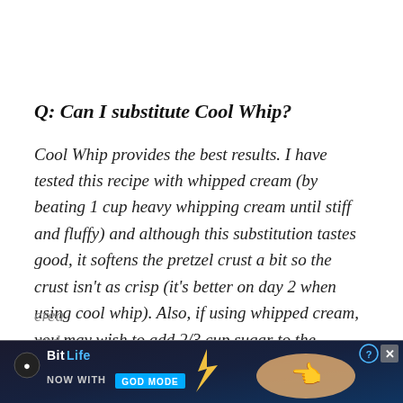Q: Can I substitute Cool Whip?
Cool Whip provides the best results. I have tested this recipe with whipped cream (by beating 1 cup heavy whipping cream until stiff and fluffy) and although this substitution tastes good, it softens the pretzel crust a bit so the crust isn't as crisp (it's better on day 2 when using cool whip). Also, if using whipped cream, you may wish to add 2/3 cup sugar to the crea... and...
[Figure (screenshot): BitLife advertisement banner with dark blue background, BitLife logo, and 'NOW WITH GOD MODE' text. Has close (X) button and help (?) button in top right corner.]